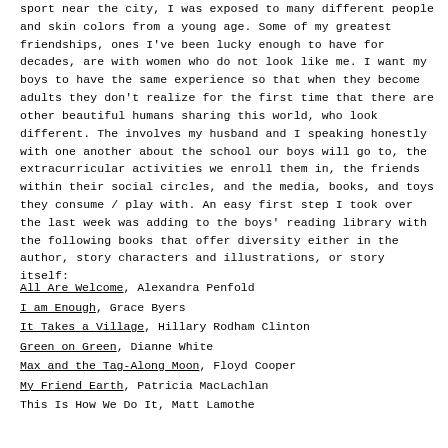sport near the city, I was exposed to many different people and skin colors from a young age. Some of my greatest friendships, ones I've been lucky enough to have for decades, are with women who do not look like me. I want my boys to have the same experience so that when they become adults they don't realize for the first time that there are other beautiful humans sharing this world, who look different. The involves my husband and I speaking honestly with one another about the school our boys will go to, the extracurricular activities we enroll them in, the friends within their social circles, and the media, books, and toys they consume / play with. An easy first step I took over the last week was adding to the boys' reading library with the following books that offer diversity either in the author, story characters and illustrations, or story itself:
All Are Welcome, Alexandra Penfold
I am Enough, Grace Byers
It Takes a Village, Hillary Rodham Clinton
Green on Green, Dianne White
Max and the Tag-Along Moon, Floyd Cooper
My Friend Earth, Patricia MacLachlan
This Is How We Do It, Matt Lamothe